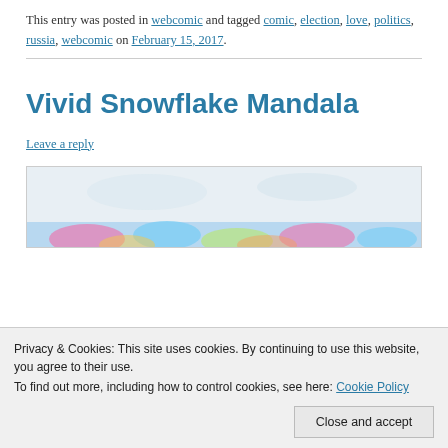This entry was posted in webcomic and tagged comic, election, love, politics, russia, webcomic on February 15, 2017.
Vivid Snowflake Mandala
Leave a reply
[Figure (illustration): Partial view of a colorful snowflake mandala illustration with blue/pink/green hues, partially obscured by cookie consent banner]
Privacy & Cookies: This site uses cookies. By continuing to use this website, you agree to their use.
To find out more, including how to control cookies, see here: Cookie Policy